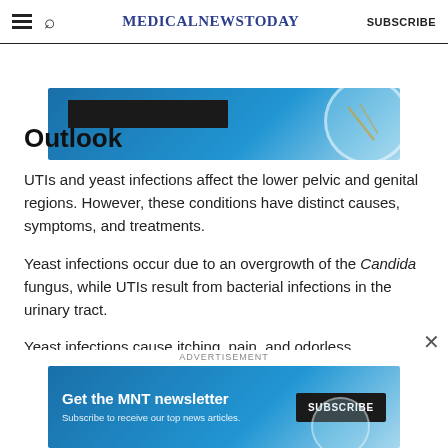MedicalNewsToday  SUBSCRIBE
[Figure (illustration): Blue advertisement banner with dark rectangle and globe/circle graphic]
Outlook
UTIs and yeast infections affect the lower pelvic and genital regions. However, these conditions have distinct causes, symptoms, and treatments.
Yeast infections occur due to an overgrowth of the Candida fungus, while UTIs result from bacterial infections in the urinary tract.
Yeast infections cause itching, pain, and odorless
[Figure (illustration): MNT newsletter subscription advertisement banner with blue background, globe graphic, and Subscribe button]